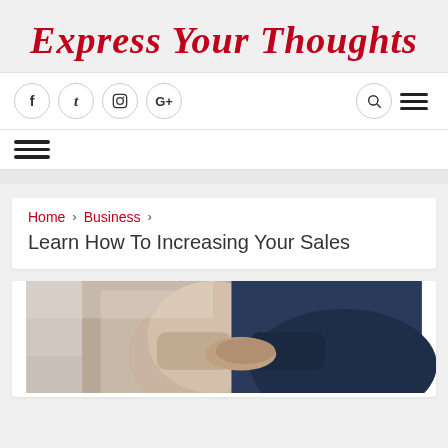Express Your Thoughts
[Figure (screenshot): Website header with social media icons (Facebook, Twitter, Instagram, Google+), search icon, and hamburger menu icon on white navigation bar]
[Figure (screenshot): Secondary navigation bar with hamburger menu icon]
Home > Business > Learn How To Increasing Your Sales
Learn How To Increasing Your Sales
[Figure (photo): Two people in business attire shaking hands, one in a tan/beige jacket and one in a dark navy suit]